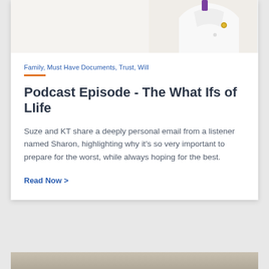[Figure (photo): Partial photo of a person in a white jacket with a gold brooch, cropped at top of card]
Family, Must Have Documents, Trust, Will
Podcast Episode - The What Ifs of LIife
Suze and KT share a deeply personal email from a listener named Sharon, highlighting why it's so very important to prepare for the worst, while always hoping for the best.
Read Now >